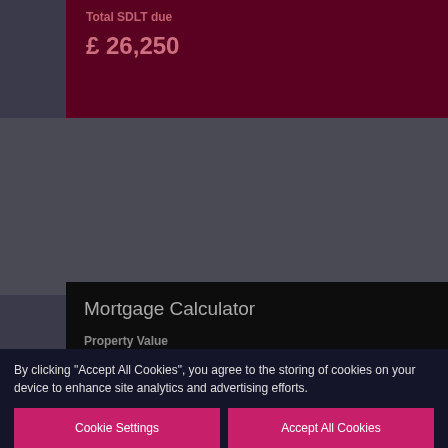Total SDLT due
£ 26,250
Mortgage Calculator
Property Value
725000
Deposit:
36250
By clicking "Accept All Cookies", you agree to the storing of cookies on your device to enhance site analytics and advertising efforts.
Cookie Settings
Accept All Cookies